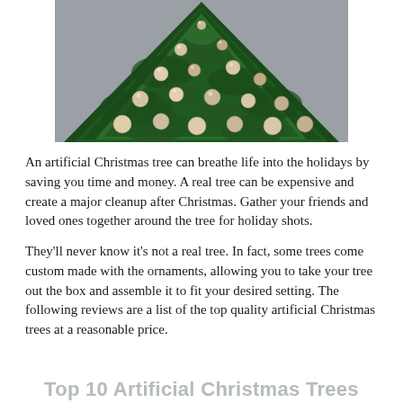[Figure (photo): Top portion of a decorated artificial Christmas tree with green branches and gold/champagne ornament balls, against a grey background]
An artificial Christmas tree can breathe life into the holidays by saving you time and money. A real tree can be expensive and create a major cleanup after Christmas. Gather your friends and loved ones together around the tree for holiday shots.
They'll never know it's not a real tree. In fact, some trees come custom made with the ornaments, allowing you to take your tree out the box and assemble it to fit your desired setting. The following reviews are a list of the top quality artificial Christmas trees at a reasonable price.
Top 10 Artificial Christmas Trees